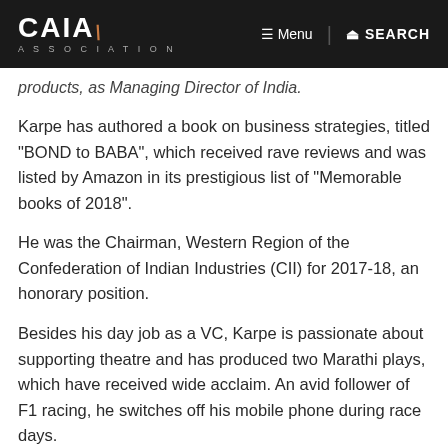CAIA ASSOCIATION | Menu | SEARCH
products, as Managing Director of India.
Karpe has authored a book on business strategies, titled "BOND to BABA", which received rave reviews and was listed by Amazon in its prestigious list of "Memorable books of 2018".
He was the Chairman, Western Region of the Confederation of Indian Industries (CII) for 2017-18, an honorary position.
Besides his day job as a VC, Karpe is passionate about supporting theatre and has produced two Marathi plays, which have received wide acclaim. An avid follower of F1 racing, he switches off his mobile phone during race days.
Be sociable, share this post!